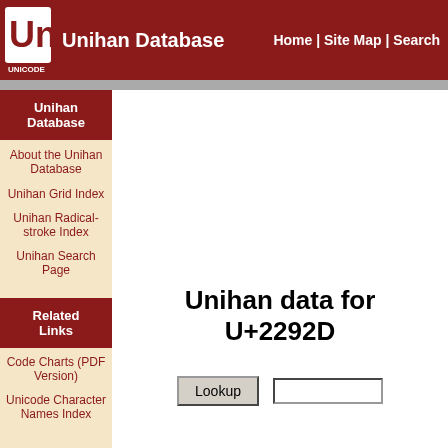Unihan Database | Home | Site Map | Search
Unihan Database
About the Unihan Database
Unihan Grid Index
Unihan Radical-stroke Index
Unihan Search Page
Related Links
Code Charts (PDF Version)
Unicode Character Names Index
Unihan data for U+2292D